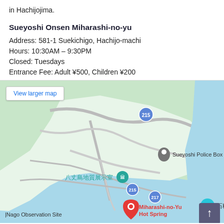in Hachijojima.
Sueyoshi Onsen Miharashi-no-yu
Address: 581-1 Suekichigo, Hachijo-machi
Hours: 10:30AM – 9:30PM
Closed: Tuesdays
Entrance Fee: Adult ¥500, Children ¥200
[Figure (map): Google Maps screenshot showing the area around Sueyoshi Onsen Miharashi-no-yu (Miharashi-no-Yu Hot Spring) on Hachijojima island. Shows road 215 and 217, Sueyoshi Police Box, 八丈島地質展示室 (Hachijojima Geological Exhibition Hall), Nago Observation Site, and 石積 label. The hot spring is marked with a red pin labeled Miharashi-no-Yu Hot Spring. The map shows green hills and coastal areas in blue.]